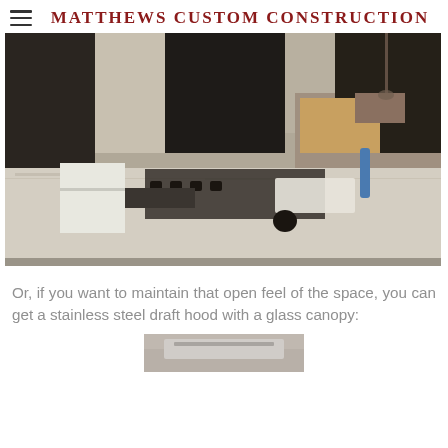MATTHEWS CUSTOM CONSTRUCTION
[Figure (photo): Kitchen under construction with granite countertop island, black cabinets, and gas cooktop being installed. Tools and materials scattered on the counter.]
Or, if you want to maintain that open feel of the space, you can get a stainless steel draft hood with a glass canopy:
[Figure (photo): Partial view of a stainless steel draft hood with glass canopy installation.]